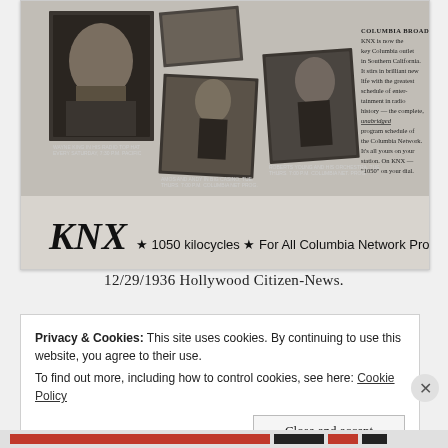[Figure (photo): Scanned newspaper advertisement for KNX radio station, 1050 kilocycles, for All Columbia Network Programs. Black and white vintage ad showing portrait photos of radio personalities and text about Columbia Broadcasting System. Bottom of ad reads: KNX * 1050 kilocycles * For All Columbia Network Programs.]
12/29/1936 Hollywood Citizen-News.
Privacy & Cookies: This site uses cookies. By continuing to use this website, you agree to their use.
To find out more, including how to control cookies, see here: Cookie Policy
Close and accept